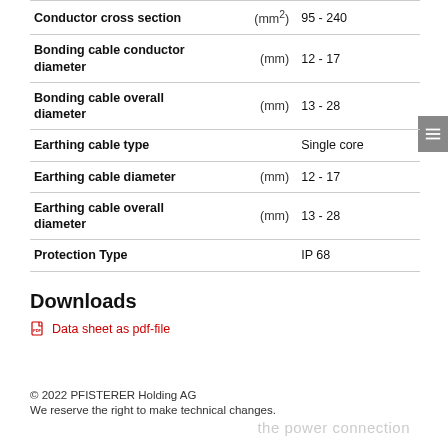| Property | Unit | Value |
| --- | --- | --- |
| Conductor cross section | (mm²) | 95 - 240 |
| Bonding cable conductor diameter | (mm) | 12 - 17 |
| Bonding cable overall diameter | (mm) | 13 - 28 |
| Earthing cable type |  | Single core |
| Earthing cable diameter | (mm) | 12 - 17 |
| Earthing cable overall diameter | (mm) | 13 - 28 |
| Protection Type |  | IP 68 |
Downloads
Data sheet as pdf-file
© 2022 PFISTERER Holding AG
We reserve the right to make technical changes.
the power connection